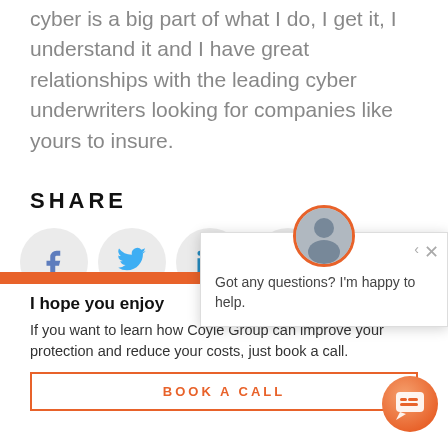cyber is a big part of what I do, I get it, I understand it and I have great relationships with the leading cyber underwriters looking for companies like yours to insure.
SHARE
[Figure (infographic): Social share buttons: Facebook, Twitter, LinkedIn, Pinterest icons in circular grey buttons]
I hope you enjoy
If you want to learn how Coyle Group can improve your protection and reduce your costs, just book a call.
BOOK A CALL
[Figure (screenshot): Chat popup overlay with avatar photo, close button, arrow button, and text: Got any questions? I'm happy to help.]